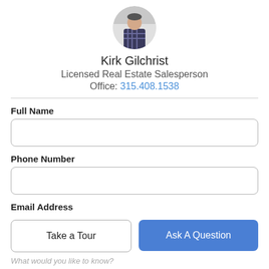[Figure (photo): Circular headshot of Kirk Gilchrist, a man in a plaid shirt]
Kirk Gilchrist
Licensed Real Estate Salesperson
Office: 315.408.1538
Full Name
Phone Number
Email Address
Take a Tour
Ask A Question
What would you like to know?